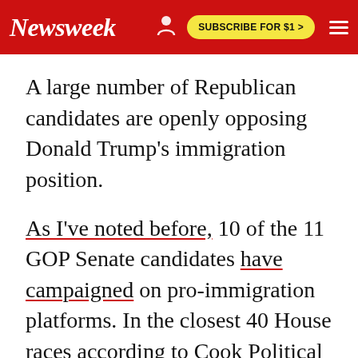Newsweek | SUBSCRIBE FOR $1 >
A large number of Republican candidates are openly opposing Donald Trump's immigration position.
As I've noted before, 10 of the 11 GOP Senate candidates have campaigned on pro-immigration platforms. In the closest 40 House races according to Cook Political Report's ratings, a majority of Republicans have already expressed openness to a pathway to legalization for immigrants without